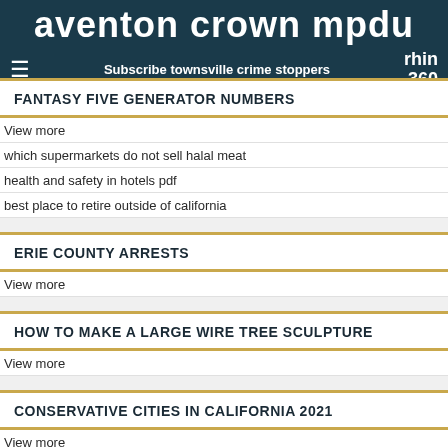aventon crown mpdu | Subscribe townsville crime stoppers | rhin 360
FANTASY FIVE GENERATOR NUMBERS
View more
which supermarkets do not sell halal meat
health and safety in hotels pdf
best place to retire outside of california
ERIE COUNTY ARRESTS
View more
HOW TO MAKE A LARGE WIRE TREE SCULPTURE
View more
CONSERVATIVE CITIES IN CALIFORNIA 2021
View more